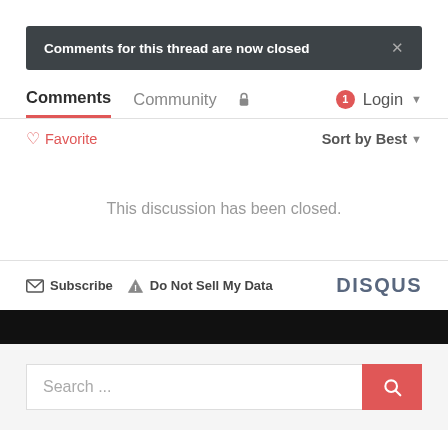Comments for this thread are now closed
Comments  Community  [lock icon]  [1 badge] Login
♡ Favorite  Sort by Best
This discussion has been closed.
Subscribe  Do Not Sell My Data  DISQUS
Search ...